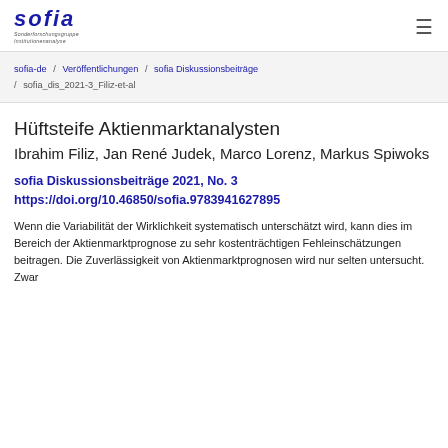[Figure (logo): sofia (Sonderforschungsgruppe Institutionenanalyse) logo with stylized italic text and hamburger menu icon]
sofia-de / Veröffentlichungen / sofia Diskussionsbeiträge / sofia_dis_2021-3_Filiz-et-al
Hüftsteife Aktienmarktanalysten
Ibrahim Filiz, Jan René Judek, Marco Lorenz, Markus Spiwoks
sofia Diskussionsbeiträge 2021, No. 3 https://doi.org/10.46850/sofia.9783941627895
Wenn die Variabilität der Wirklichkeit systematisch unterschätzt wird, kann dies im Bereich der Aktienmarktprognose zu sehr kostenträchtigen Fehleinschätzungen beitragen. Die Zuverlässigkeit von Aktienmarktprognosen wird nur selten untersucht. Zwar